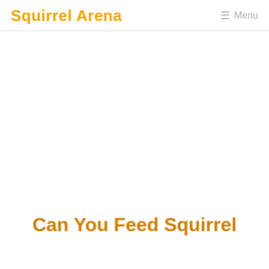Squirrel Arena  Menu
Can You Feed Squirrel